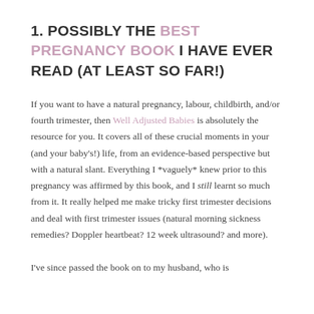1. POSSIBLY THE BEST PREGNANCY BOOK I HAVE EVER READ (AT LEAST SO FAR!)
If you want to have a natural pregnancy, labour, childbirth, and/or fourth trimester, then Well Adjusted Babies is absolutely the resource for you. It covers all of these crucial moments in your (and your baby's!) life, from an evidence-based perspective but with a natural slant. Everything I *vaguely* knew prior to this pregnancy was affirmed by this book, and I still learnt so much from it. It really helped me make tricky first trimester decisions and deal with first trimester issues (natural morning sickness remedies? Doppler heartbeat? 12 week ultrasound? and more).
I've since passed the book on to my husband, who is